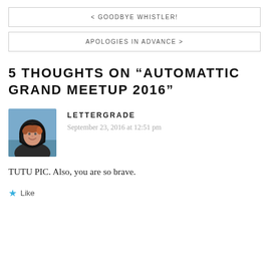< GOODBYE WHISTLER!
APOLOGIES IN ADVANCE >
5 THOUGHTS ON “AUTOMATTIC GRAND MEETUP 2016”
[Figure (photo): Avatar photo of a person wearing a dark hoodie outdoors near water]
LETTERGRADE
September 23, 2016 at 12:51 pm
TUTU PIC. Also, you are so brave.
Like